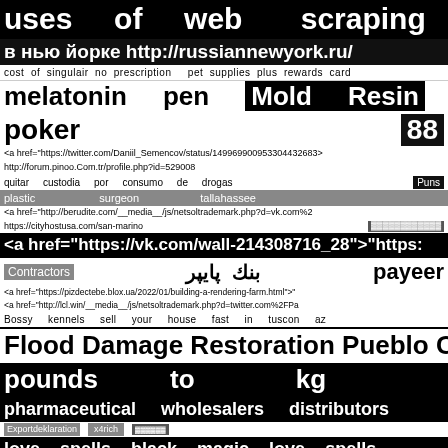uses of web scraping
в нью йорке http://russiannewyork.ru/
cost of singulair no prescription   pet supplies plus rewards card
melatonin pen   Mold Resin
poker   88
<a href="https://twitter.com/Daniil_Semencov/status/149969900953304432683>
http://forum.pinoo.Com.tr/profile.php?id=529008
quitar custodia por consumo de drogas   Puns
plastic surgeon tallahassee
<a href="http://berudite.com/__media__/js/netsoltrademark.php?d=vk.com%2
https://cityhostusa.com/san-marino
<a href="https://vk.com/wall-214308716_28">"https:
Contractors   بنك پایپر   payeer
<a href="https://pizdectebe.blox.ua/2022/01/building-a-rendering-farm.html">"
<a href="http://lcl.win/__media__/js/netsoltrademark.php?d=twitter.com%2FPa
Bossy kennels   sell your house fast in tuscon az
Flood Damage Restoration Pueblo Coll
pounds to kg
pharmaceutical wholesalers distributors
Exportdeklaration   x4rich
love spells black magic love spells
metamorphosis literary agency